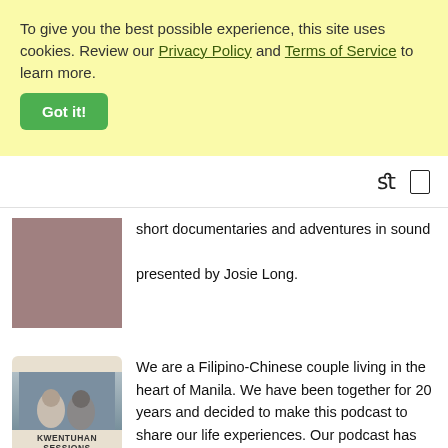To give you the best possible experience, this site uses cookies. Review our Privacy Policy and Terms of Service to learn more.
Got it!
short documentaries and adventures in sound presented by Josie Long.
[Figure (photo): Brown/mauve square thumbnail image for a podcast]
[Figure (photo): Kwentuhan Sessions podcast cover art showing a Filipino-Chinese couple with text KWENTUHAN SESSIONS]
We are a Filipino-Chinese couple living in the heart of Manila. We have been together for 20 years and decided to make this podcast to share our life experiences. Our podcast has no format and may discuss random things like relationships, recommended